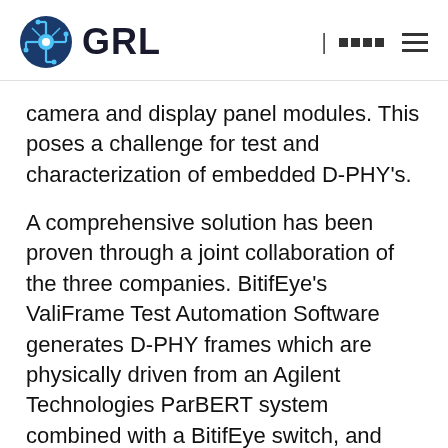GRL
camera and display panel modules. This poses a challenge for test and characterization of embedded D-PHY's.
A comprehensive solution has been proven through a joint collaboration of the three companies. BitifEye's ValiFrame Test Automation Software generates D-PHY frames which are physically driven from an Agilent Technologies ParBERT system combined with a BitifEye switch, and received in the Arasan D-PHY test chip interfaced to the company's DSI Device IP mapped on an FPGA. Arasan